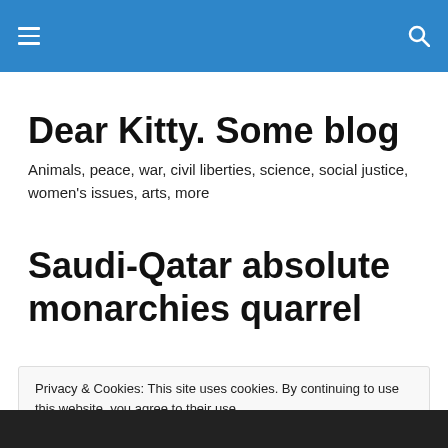Dear Kitty. Some blog
Animals, peace, war, civil liberties, science, social justice, women's issues, arts, more
Saudi-Qatar absolute monarchies quarrel
Privacy & Cookies: This site uses cookies. By continuing to use this website, you agree to their use.
To find out more, including how to control cookies, see here: Cookie Policy
[Close and accept]